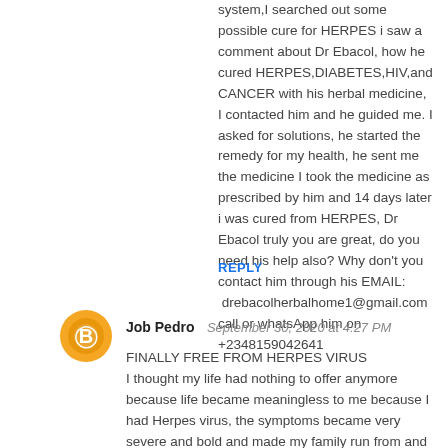system,I searched out some possible cure for HERPES i saw a comment about Dr Ebacol, how he cured HERPES,DIABETES,HIV,and CANCER with his herbal medicine, I contacted him and he guided me. I asked for solutions, he started the remedy for my health, he sent me the medicine I took the medicine as prescribed by him and 14 days later i was cured from HERPES, Dr Ebacol truly you are great, do you need his help also? Why don't you contact him through his EMAIL:  drebacolherbalhome1@gmail.com  call or whatsApp him on +2348159042641
REPLY
Job Pedro  September 30, 2020 at 4:27 PM
FINALLY FREE FROM HERPES VIRUS I thought my life had nothing to offer anymore because life became meaningless to me because I had Herpes virus, the symptoms became very severe and bold and made my family run from and abandoned me so they won't get infected. I gave up everything, my